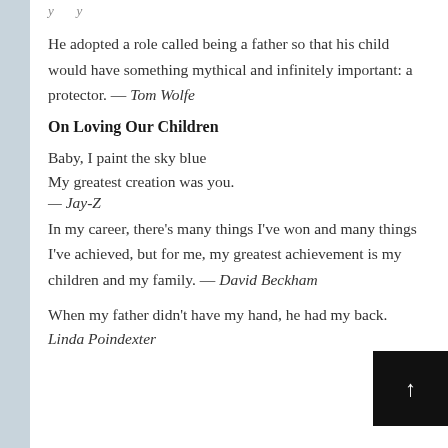He adopted a role called being a father so that his child would have something mythical and infinitely important: a protector. — Tom Wolfe
On Loving Our Children
Baby, I paint the sky blue
My greatest creation was you.
— Jay-Z
In my career, there's many things I've won and many things I've achieved, but for me, my greatest achievement is my children and my family. — David Beckham
When my father didn't have my hand, he had my back.
Linda Poindexter